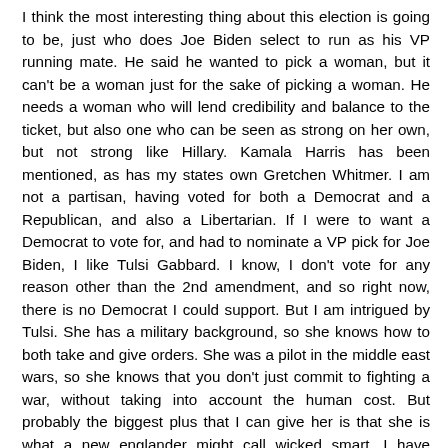I think the most interesting thing about this election is going to be, just who does Joe Biden select to run as his VP running mate. He said he wanted to pick a woman, but it can't be a woman just for the sake of picking a woman. He needs a woman who will lend credibility and balance to the ticket, but also one who can be seen as strong on her own, but not strong like Hillary. Kamala Harris has been mentioned, as has my states own Gretchen Whitmer. I am not a partisan, having voted for both a Democrat and a Republican, and also a Libertarian. If I were to want a Democrat to vote for, and had to nominate a VP pick for Joe Biden, I like Tulsi Gabbard. I know, I don't vote for any reason other than the 2nd amendment, and so right now, there is no Democrat I could support. But I am intrigued by Tulsi. She has a military background, so she knows how to both take and give orders. She was a pilot in the middle east wars, so she knows that you don't just commit to fighting a war, without taking into account the human cost. But probably the biggest plus that I can give her is that she is what a new englander might call wicked smart. I have watched her on various interviews, and it is apparent that she is always prepared and ready for any question that might be asked her. She doesn't seem to ever get...